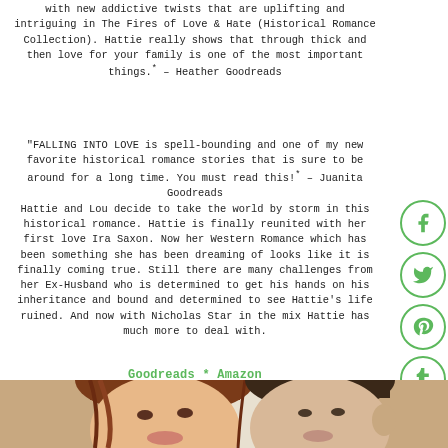with new addictive twists that are uplifting and intriguing in The Fires of Love & Hate (Historical Romance Collection). Hattie really shows that through thick and then love for your family is one of the most important things.* – Heather Goodreads
"FALLING INTO LOVE is spell-bounding and one of my new favorite historical romance stories that is sure to be around for a long time. You must read this!* – Juanita Goodreads
Hattie and Lou decide to take the world by storm in this historical romance. Hattie is finally reunited with her first love Ira Saxon. Now her Western Romance which has been something she has been dreaming of looks like it is finally coming true. Still there are many challenges from her Ex-Husband who is determined to get his hands on his inheritance and bound and determined to see Hattie's life ruined. And now with Nicholas Star in the mix Hattie has much more to deal with.
Goodreads * Amazon
[Figure (photo): Close-up photo of two people's faces (a woman with auburn/red-brown hair on the left and a man on the right), suggesting a romantic scene, cropped at the bottom of the page.]